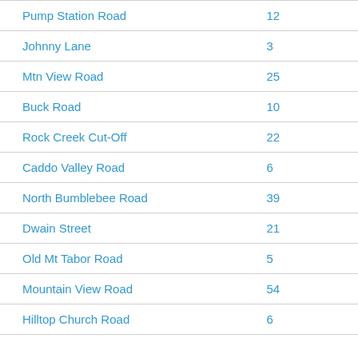| Pump Station Road | 12 |
| Johnny Lane | 3 |
| Mtn View Road | 25 |
| Buck Road | 10 |
| Rock Creek Cut-Off | 22 |
| Caddo Valley Road | 6 |
| North Bumblebee Road | 39 |
| Dwain Street | 21 |
| Old Mt Tabor Road | 5 |
| Mountain View Road | 54 |
| Hilltop Church Road | 6 |